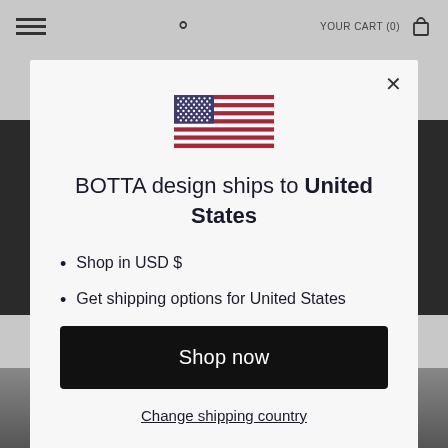[Figure (screenshot): Website navigation bar with hamburger menu, search icon, YOUR CART (0) text, and shopping bag icon on a gray background]
[Figure (illustration): US flag SVG illustration centered in the modal]
BOTTA design ships to United States
Shop in USD $
Get shipping options for United States
Shop now
Change shipping country